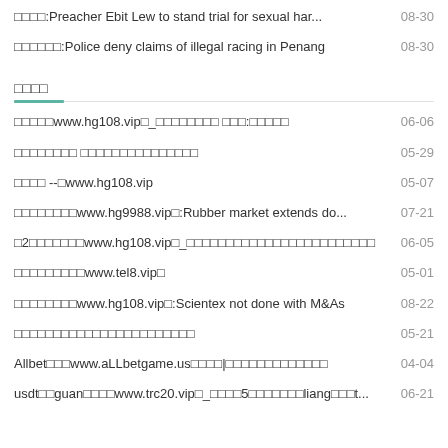□□□□:Preacher Ebit Lew to stand trial for sexual har... 08-30
□□□□□□:Police deny claims of illegal racing in Penang 08-30
□□□□
□□□□□www.hg108.vip□_□□□□□□□□ □□□:□□□□□ 06-06
□□□□□□□□ □□□□□□□□□□□□□□□ 05-29
□□□□ --□www.hg108.vip 05-07
□□□□□□□□www.hg9988.vip□:Rubber market extends do... 07-21
□2□□□□□□□www.hg108.vip□_□□□□□□□□□□□□□□□□□□□□□□□□ 06-05
□□□□□□□□□www.tel8.vip□ 05-01
□□□□□□□□www.hg108.vip□:Scientex not done with M&As 08-22
□□□□□□□□□□□□□□□□□□□□□□□ 05-21
Allbet□□□www.aLLbetgame.us□□□□|□□□□□□□□□□□□□ 04-04
usdt□□guan□□□□www.trc20.vip□_□□□□5□□□□□□□liang□□□t... 06-21